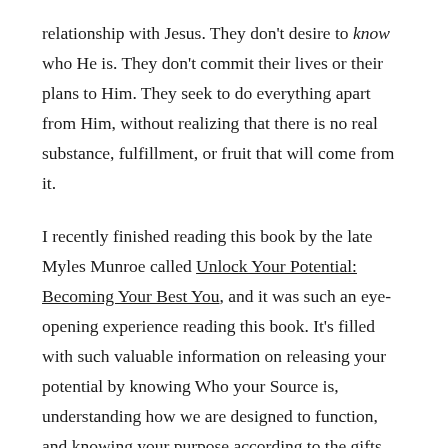relationship with Jesus. They don't desire to know who He is. They don't commit their lives or their plans to Him. They seek to do everything apart from Him, without realizing that there is no real substance, fulfillment, or fruit that will come from it.
I recently finished reading this book by the late Myles Munroe called Unlock Your Potential: Becoming Your Best You, and it was such an eye-opening experience reading this book. It's filled with such valuable information on releasing your potential by knowing Who your Source is, understanding how we are designed to function, and knowing your purpose according to the gifts, talents, and skills God has placed on the inside of you.